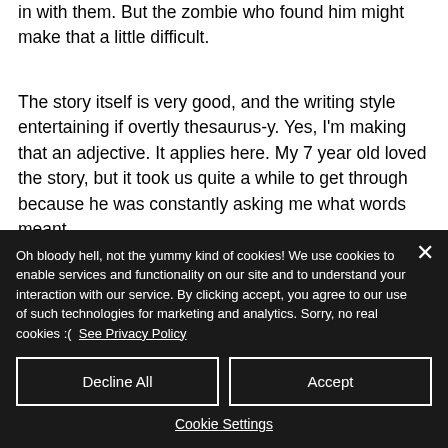in with them. But the zombie who found him might make that a little difficult.
The story itself is very good, and the writing style entertaining if overtly thesaurus-y. Yes, I'm making that an adjective. It applies here. My 7 year old loved the story, but it took us quite a while to get through because he was constantly asking me what words meant
Oh bloody hell, not the yummy kind of cookies! We use cookies to enable services and functionality on our site and to understand your interaction with our service. By clicking accept, you agree to our use of such technologies for marketing and analytics. Sorry, no real cookies :( See Privacy Policy
Decline All
Accept
Cookie Settings